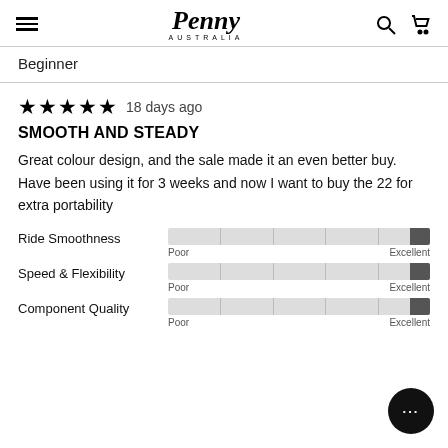Penny Australia — navigation header
Beginner
★★★★★  18 days ago
SMOOTH AND STEADY
Great colour design, and the sale made it an even better buy. Have been using it for 3 weeks and now I want to buy the 22 for extra portability
[Figure (infographic): Three horizontal rating bars: Ride Smoothness (near Excellent), Speed & Flexibility (near Excellent), Component Quality (near Excellent), each with Poor to Excellent scale]
Ride Smoothness — Poor to Excellent; Speed & Flexibility — Poor to Excellent; Component Quality — Poor to Excellent